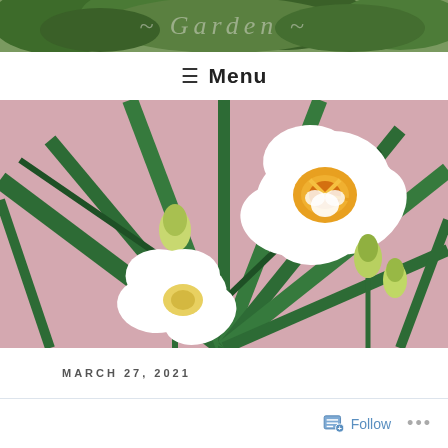[Figure (photo): Website header banner showing green foliage/garden with stylized script text overlay]
≡ Menu
[Figure (photo): Close-up photo of white narcissus/daffodil flowers with yellow-orange centers against green palm fronds and pink background]
MARCH 27, 2021
[Figure (screenshot): Follow button widget at bottom right with list icon]
Follow
•••